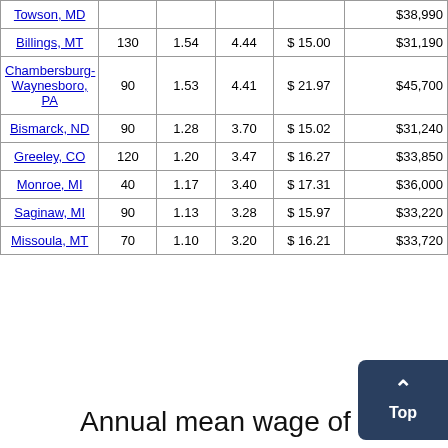| Location |  |  |  |  |  |
| --- | --- | --- | --- | --- | --- |
| Towson, MD |  |  |  |  | $ 38,990 |
| Billings, MT | 130 | 1.54 | 4.44 | $ 15.00 | $ 31,190 |
| Chambersburg-Waynesboro, PA | 90 | 1.53 | 4.41 | $ 21.97 | $ 45,700 |
| Bismarck, ND | 90 | 1.28 | 3.70 | $ 15.02 | $ 31,240 |
| Greeley, CO | 120 | 1.20 | 3.47 | $ 16.27 | $ 33,850 |
| Monroe, MI | 40 | 1.17 | 3.40 | $ 17.31 | $ 36,000 |
| Saginaw, MI | 90 | 1.13 | 3.28 | $ 15.97 | $ 33,220 |
| Missoula, MT | 70 | 1.10 | 3.20 | $ 16.21 | $ 33,720 |
Annual mean wage of motor vehicle opera...